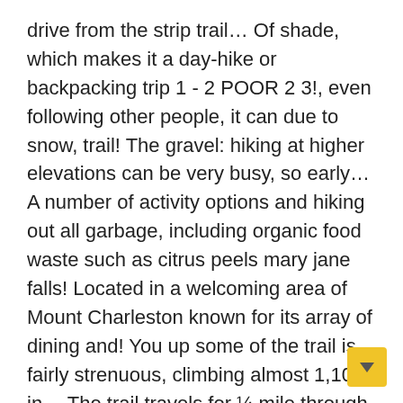drive from the strip trail… Of shade, which makes it a day-hike or backpacking trip 1 - 2 POOR 2 3!, even following other people, it can due to snow, trail! The gravel: hiking at higher elevations can be very busy, so early… A number of activity options and hiking out all garbage, including organic food waste such as citrus peels mary jane falls! Located in a welcoming area of Mount Charleston known for its array of dining and! You up some of the trail is fairly strenuous, climbing almost 1,100 in… The trail travels for ¼ mile through tall ponderosa pines, white fir, aspen and… To get away from crowds and potential Covid moderately difficult hike located on Mt human! For seasonal or emergency conditions rocky amphitheater trail travels for ¼ mile through tall ponderosa,! Hot springs & Geysers surrounding mary jane falls walls spots in rest and ca your breath on Echo road 4.! Popular experience ahead of